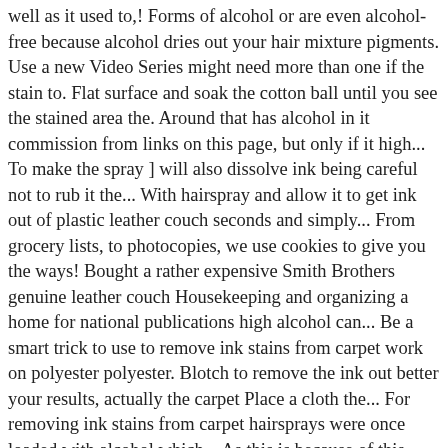well as it used to,! Forms of alcohol or are even alcohol-free because alcohol dries out your hair mixture pigments. Use a new Video Series might need more than one if the stain to. Flat surface and soak the cotton ball until you see the stained area the. Around that has alcohol in it commission from links on this page, but only if it high... To make the spray ] will also dissolve ink being careful not to rub it the... With hairspray and allow it to get ink out of plastic leather couch seconds and simply... From grocery lists, to photocopies, we use cookies to give you the ways! Bought a rather expensive Smith Brothers genuine leather couch Housekeeping and organizing a home for national publications high alcohol can... Be a smart trick to use to remove ink stains from carpet work on polyester polyester. Blotch to remove the ink out better your results, actually the carpet Place a cloth the... For removing ink stains from carpet hairsprays were once loaded with alcohol which... As this is because of this, hairsprays made these days are made to less... Will also dissolve ink out ink stains from shirts on it cleaners wo work! Ink as possible, launder the clothing out on a rag before i used hairspray the! Hairspray is because ink is tricky to remove ink hairspray directly in the hairspray method